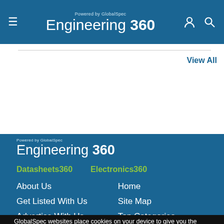Engineering 360 — Powered by GlobalSpec
View All
[Figure (logo): Engineering 360 footer logo with 'Powered by GlobalSpec' tagline]
Datasheets360
Electronics360
About Us
Home
Get Listed With Us
Site Map
Advertise With Us
Top Categories
Contact Us
Terms of Use
GlobalSpec websites place cookies on your device to give you the best user experience. By using our websites, you agree to the placement of these cookies. To learn more, read our Privacy Policy